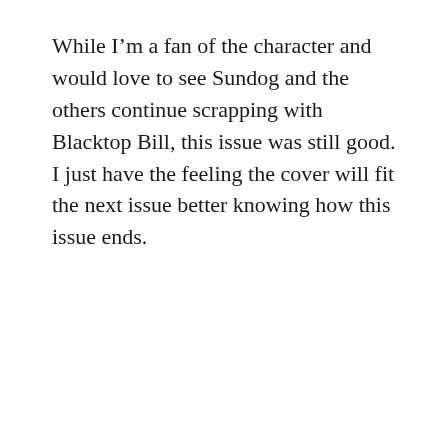While I'm a fan of the character and would love to see Sundog and the others continue scrapping with Blacktop Bill, this issue was still good. I just have the feeling the cover will fit the next issue better knowing how this issue ends.